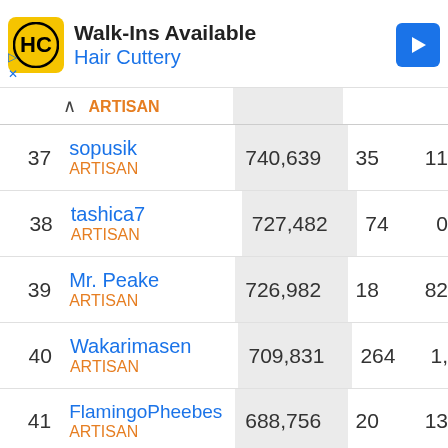[Figure (other): Hair Cuttery advertisement banner with logo, 'Walk-Ins Available' text, and navigation arrow icon]
|  | ARTISAN |  |  |  |
| --- | --- | --- | --- | --- |
| 37 | sopusik
ARTISAN | 740,639 | 35 | 11 |
| 38 | tashica7
ARTISAN | 727,482 | 74 | 0 |
| 39 | Mr. Peake
ARTISAN | 726,982 | 18 | 82 |
| 40 | Wakarimasen
ARTISAN | 709,831 | 264 | 1, |
| 41 | FlamingoPheebes
ARTISAN | 688,756 | 20 | 13 |
| 42 | jkoenke | 677,953 | 237 | 20 |